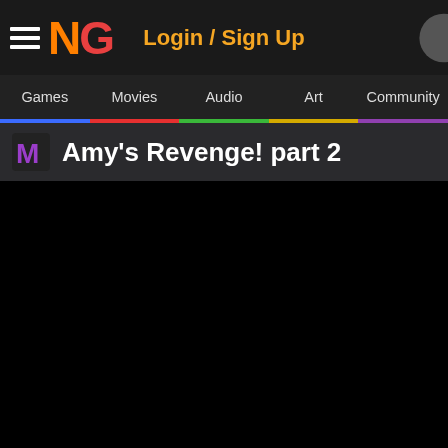NG  Login / Sign Up
Games  Movies  Audio  Art  Community
Amy's Revenge! part 2